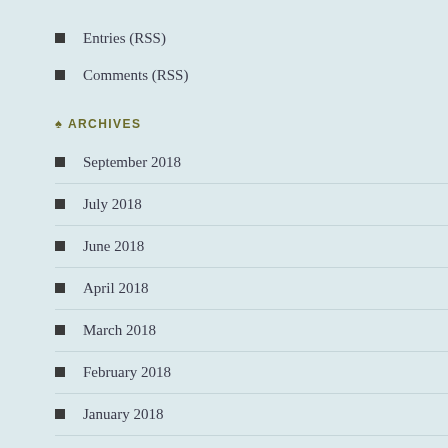Entries (RSS)
Comments (RSS)
ARCHIVES
September 2018
July 2018
June 2018
April 2018
March 2018
February 2018
January 2018
December 2017
November 2017
October 2017
September 2017